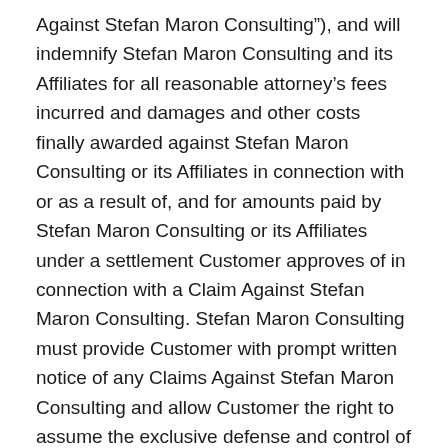Against Stefan Maron Consulting"), and will indemnify Stefan Maron Consulting and its Affiliates for all reasonable attorney's fees incurred and damages and other costs finally awarded against Stefan Maron Consulting or its Affiliates in connection with or as a result of, and for amounts paid by Stefan Maron Consulting or its Affiliates under a settlement Customer approves of in connection with a Claim Against Stefan Maron Consulting. Stefan Maron Consulting must provide Customer with prompt written notice of any Claims Against Stefan Maron Consulting and allow Customer the right to assume the exclusive defense and control of the claim, and cooperate with any reasonable requests assisting Customer's defense and settlement of such matter.
By Stefan Maron Consulting: Stefan Maron Consulting